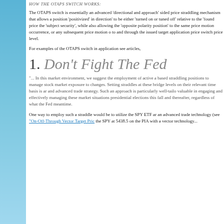HOW THE OTAPS SWITCH WORKS:
The OTAPS switch is essentially an advanced 'directional and approach sided price straddling mechanism that allows a position 'positivized' in direction' to be either 'turned on or tuned off' relative to the 'found price the 'subject security', while also allowing the 'opposite polarity position to the same price motion occurrence, or any subsequent price motion o to and through the issued target application price switch price level.
For examples of the OTAPS switch in application see articles,
1. Don't Fight The Fed
"... In this market environment, we suggest the employment of active a based straddling positions to manage stock market exposure to changes. Setting straddles at these bridge levels on their relevant time basis is ar and advanced trade strategy. Such an approach is particularly well-tailo valuable in engaging and effectively managing these market situations presidential elections this fall and thereafter, regardless of what the Fed meantime.
One way to employ such a straddle would be to utilize the SPY ETF ar an advanced trade technology (see "On-Off-Through Vector Target Pric the SPY at 5438.5 on the PIA with a vector technology...